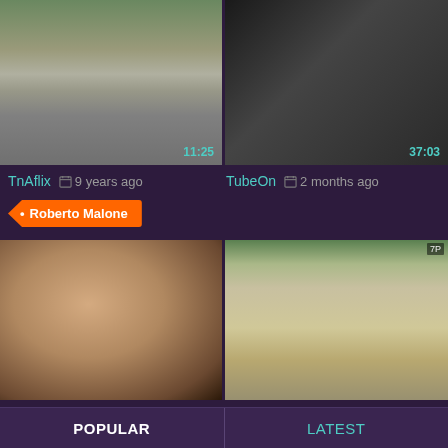[Figure (screenshot): Two video thumbnails side by side at top: left shows a road/street scene with timer 11:25, right shows a dark scene with timer overlay]
TnAflix   9 years ago   TubeOn   2 months ago
Roberto Malone
[Figure (screenshot): Two photo thumbnails side by side: left shows a smiling couple, right shows a young woman standing on a street]
Sex Larder   today   Sex Larder   today
Cuckold
Bangbus
POPULAR   LATEST